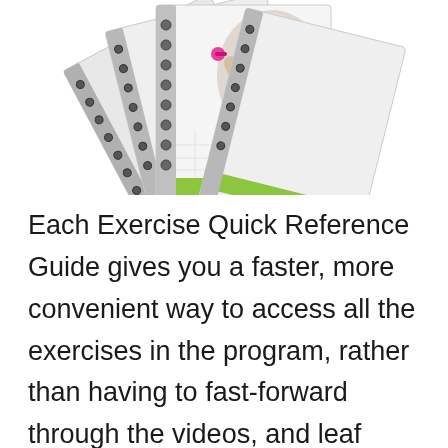[Figure (photo): A fan of spiral-bound exercise quick reference guide booklets, showing a woman lifting dumbbells on the cover, with green accent stripes at the bottom of each booklet.]
Each Exercise Quick Reference Guide gives you a faster, more convenient way to access all the exercises in the program, rather than having to fast-forward through the videos, and leaf through the larger manuals every time.